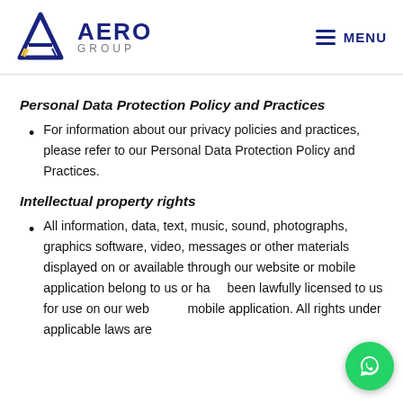[Figure (logo): Aero Group logo with triangular A icon in navy blue and yellow, company name AERO GROUP in navy blue text]
Personal Data Protection Policy and Practices
For information about our privacy policies and practices, please refer to our Personal Data Protection Policy and Practices.
Intellectual property rights
All information, data, text, music, sound, photographs, graphics software, video, messages or other materials displayed on or available through our website or mobile application belong to us or have been lawfully licensed to us for use on our website or mobile application. All rights under applicable laws are